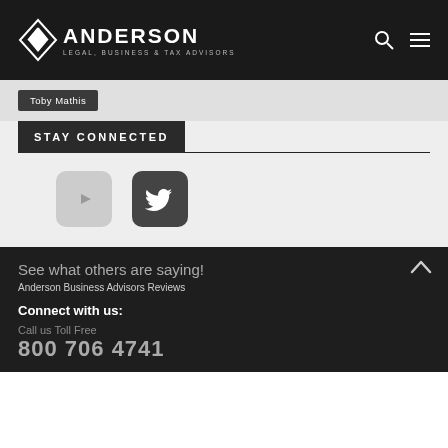Anderson Legal, Business & Tax Advisors
Toby Mathis
STAY CONNECTED
[Figure (logo): YouTube icon button - light gray rounded square with play button triangle]
[Figure (logo): Twitter icon button - dark gray rounded square with Twitter bird logo]
See what others are saying!
Anderson Business Advisors Reviews
Connect with us:
Call us Toll Free
800 706 4741